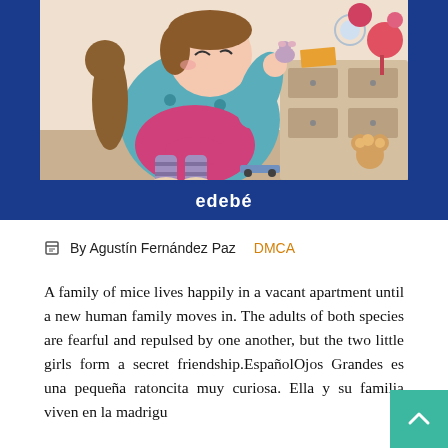[Figure (illustration): Children's book cover illustration published by edebé. A large girl or child figure in a teal polka-dot outfit sits holding a small mouse, surrounded by toys and furniture in a bedroom scene. A teddy bear and other objects are visible. The illustration has a warm, colorful cartoon style. The publisher name 'edebé' appears at the bottom of the blue cover frame.]
By Agustín Fernández Paz   DMCA
A family of mice lives happily in a vacant apartment until a new human family moves in. The adults of both species are fearful and repulsed by one another, but the two little girls form a secret friendship.EspañolOjos Grandes es una pequeña ratoncita muy curiosa. Ella y su familia viven en la madrigu